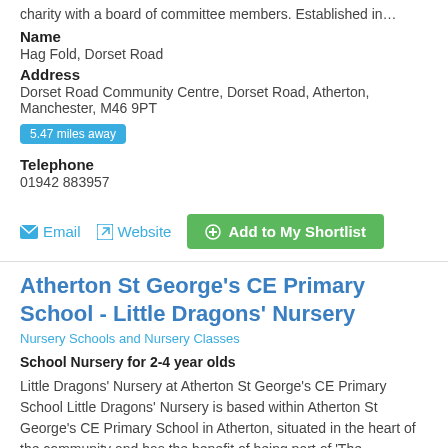charity with a board of committee members. Established in…
Name
Hag Fold, Dorset Road
Address
Dorset Road Community Centre, Dorset Road, Atherton, Manchester, M46 9PT
5.47 miles away
Telephone
01942 883957
Email  Website  Add to My Shortlist
Atherton St George's CE Primary School - Little Dragons' Nursery
Nursery Schools and Nursery Classes
School Nursery for 2-4 year olds
Little Dragons' Nursery at Atherton St George's CE Primary School Little Dragons' Nursery is based within Atherton St George's CE Primary School in Atherton, situated in the heart of the community and has the benefit of being part of 'The